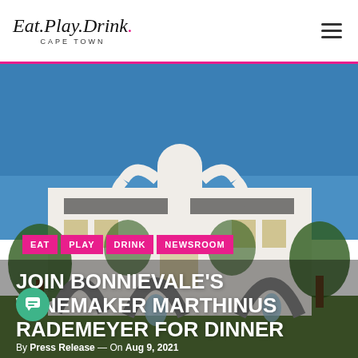Eat.Play.Drink. Cape Town
[Figure (photo): White Cape Dutch style building with a gabled roofline, large arched fountain structure in the foreground, blue sky, and green trees. Navigation pills overlaid: EAT, PLAY, DRINK, NEWSROOM.]
JOIN BONNIEVALE'S WINEMAKER MARTHINUS RADEMEYER FOR DINNER
By Press Release — On Aug 9, 2021